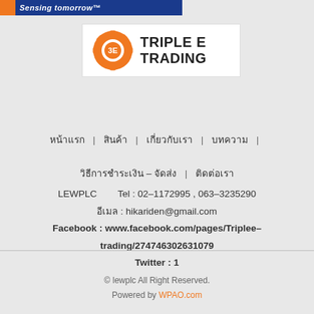Sensing tomorrow™
[Figure (logo): Triple E Trading logo with orange gear icon and bold black text 'TRIPLE E TRADING']
หน้าแรก | สินค้า | เกี่ยวกับเรา | บทความ | วิธีการชำระเงิน – จัดส่ง | ติดต่อเรา
LEWPLC   Tel : 02-1172995 , 063-3235290
อีเมล : hikariden@gmail.com
Facebook : www.facebook.com/pages/Triplee-trading/274746302631079
Twitter : 1
© lewplc All Right Reserved.
Powered by WPAO.com